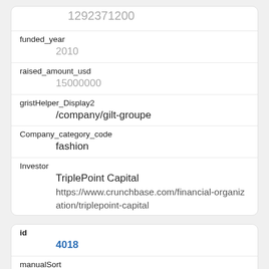| field | value |
| --- | --- |
| (top value) | 1292371200 |
| funded_year | 2010 |
| raised_amount_usd | 15000000 |
| gristHelper_Display2 | /company/gilt-groupe |
| Company_category_code | fashion |
| Investor | TriplePoint Capital
https://www.crunchbase.com/financial-organization/triplepoint-capital |
| field | value |
| --- | --- |
| id | 4018 |
| manualSort | 4018 |
| Company | 1704 |